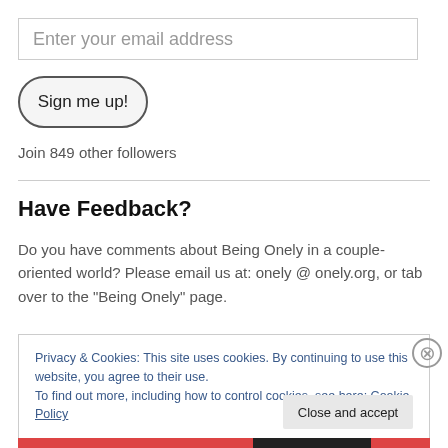Enter your email address
Sign me up!
Join 849 other followers
Have Feedback?
Do you have comments about Being Onely in a couple-oriented world? Please email us at: onely @ onely.org, or tab over to the "Being Onely" page.
Privacy & Cookies: This site uses cookies. By continuing to use this website, you agree to their use. To find out more, including how to control cookies, see here: Cookie Policy
Close and accept